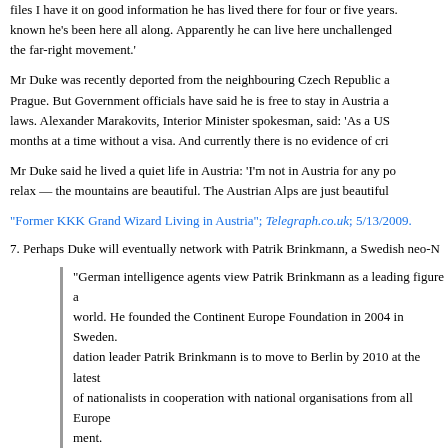files I have it on good information he has lived there for four or five years. known he's been here all along. Apparently he can live here unchallenged the far-right movement.'
Mr Duke was recently deported from the neighbouring Czech Republic a Prague. But Government officials have said he is free to stay in Austria a laws. Alexander Marakovits, Interior Minister spokesman, said: 'As a US months at a time without a visa. And currently there is no evidence of cri
Mr Duke said he lived a quiet life in Austria: 'I'm not in Austria for any po relax — the mountains are beautiful. The Austrian Alps are just beautiful
"Former KKK Grand Wizard Living in Austria"; Telegraph.co.uk; 5/13/2009.
7. Perhaps Duke will eventually network with Patrik Brinkmann, a Swedish neo-N
"German intelligence agents view Patrik Brinkmann as a leading figure a world. He founded the Continent Europe Foundation in 2004 in Sweden. dation leader Patrik Brinkmann is to move to Berlin by 2010 at the latest of nationalists in cooperation with national organisations from all Europe ment.
Andreas Gram, a Christian Democratic member of the Berlin state legis developments in the far-right scene "worrying" and demanded more info service on the matter. Federal and state authorities keeping tabs on the his organisation to be part of a "new right" that operates internationally,